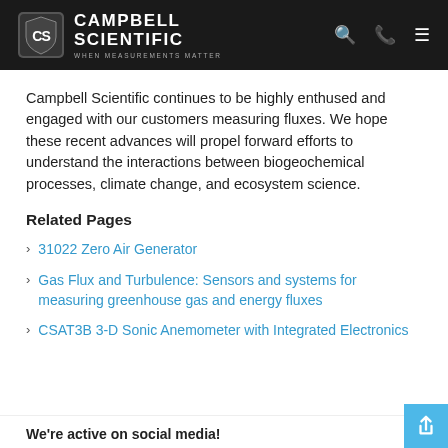[Figure (logo): Campbell Scientific logo with shield icon and tagline 'WHEN MEASUREMENTS MATTER' on black header bar with search, phone, and menu icons]
Campbell Scientific continues to be highly enthused and engaged with our customers measuring fluxes. We hope these recent advances will propel forward efforts to understand the interactions between biogeochemical processes, climate change, and ecosystem science.
Related Pages
31022 Zero Air Generator
Gas Flux and Turbulence: Sensors and systems for measuring greenhouse gas and energy fluxes
CSAT3B 3-D Sonic Anemometer with Integrated Electronics
We're active on social media!